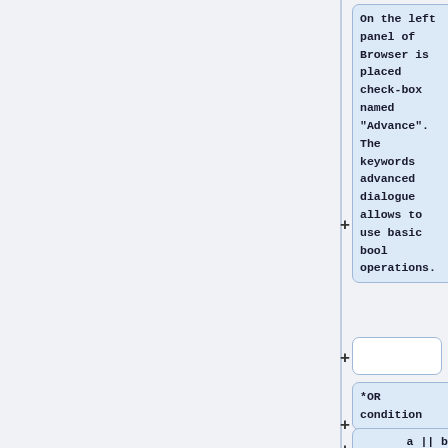On the left panel of Browser is placed check-box named "Advance". The keywords advanced dialogue allows to use basic bool operations.
*OR condition
a || b